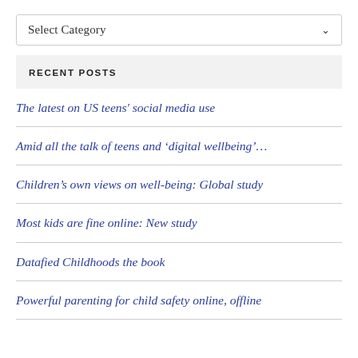Select Category
RECENT POSTS
The latest on US teens’ social media use
Amid all the talk of teens and ‘digital wellbeing’…
Children’s own views on well-being: Global study
Most kids are fine online: New study
Datafied Childhoods the book
Powerful parenting for child safety online, offline